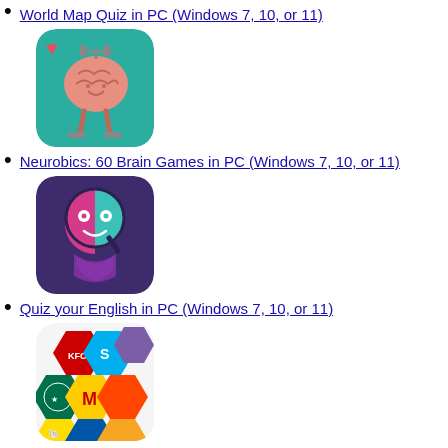World Map Quiz in PC (Windows 7, 10, or 11)
[Figure (screenshot): Neurobics: 60 Brain Games app icon - teal background with cartoon brain character lifting dumbbells and a heart symbol]
Neurobics: 60 Brain Games in PC (Windows 7, 10, or 11)
[Figure (screenshot): Quiz your English app icon - dark purple background with colorful Q letter featuring smiley face character]
Quiz your English in PC (Windows 7, 10, or 11)
[Figure (screenshot): Logo Quiz app icon - colorful hexagonal mosaic of brand logos including KFC, Skype, Starbucks, McDonald's, Shell]
Logo Quiz in PC (Windows 7, 10, or 11)